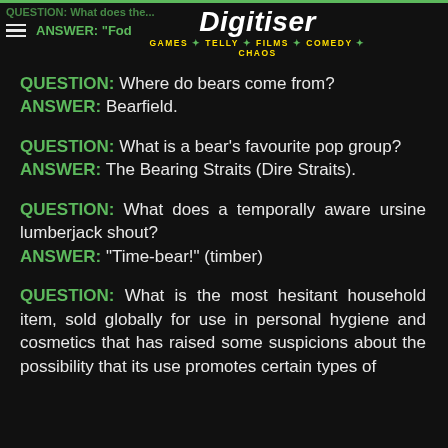Digitiser — GAMES TELLY FILMS COMEDY CHAOS
QUESTION: Where do bears come from? ANSWER: Bearfield.
QUESTION: What is a bear's favourite pop group? ANSWER: The Bearing Straits (Dire Straits).
QUESTION: What does a temporally aware ursine lumberjack shout? ANSWER: "Time-bear!" (timber)
QUESTION: What is the most hesitant household item, sold globally for use in personal hygiene and cosmetics that has raised some suspicions about the possibility that its use promotes certain types of